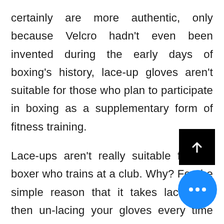certainly are more authentic, only because Velcro hadn't even been invented during the early days of boxing's history, lace-up gloves aren't suitable for those who plan to participate in boxing as a supplementary form of fitness training.

Lace-ups aren't really suitable for the boxer who trains at a club. Why? For the simple reason that it takes lacing up then un-lacing your gloves every time you change the training method. Boxing is a highly dynamic